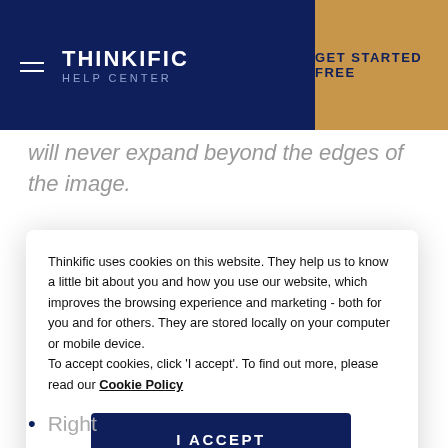THINKIFIC HELP CENTER | GET STARTED FREE
will never expand beyond the edges of the image.
Thinkific uses cookies on this website. They help us to know a little bit about you and how you use our website, which improves the browsing experience and marketing - both for you and for others. They are stored locally on your computer or mobile device.
To accept cookies, click 'I accept'. To find out more, please read our Cookie Policy
Right